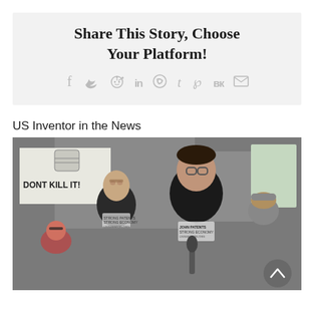Share This Story, Choose Your Platform!
[Figure (infographic): Social media sharing icons: f (Facebook), bird (Twitter), reddit alien (Reddit), in (LinkedIn), WhatsApp, t (Tumblr), Pinterest, VK, envelope (Email) — displayed in light gray on a gray background]
US Inventor in the News
[Figure (photo): Outdoor protest photo showing several people in black t-shirts reading 'STRONG PATENTS STRONG ECONOMY USINVENTOR.ORG'. In the foreground a man with glasses speaks into a microphone. Behind him another man stands near a sign reading 'DONT KILL IT!'. A scroll-up button (chevron) is visible in the lower right of the photo.]